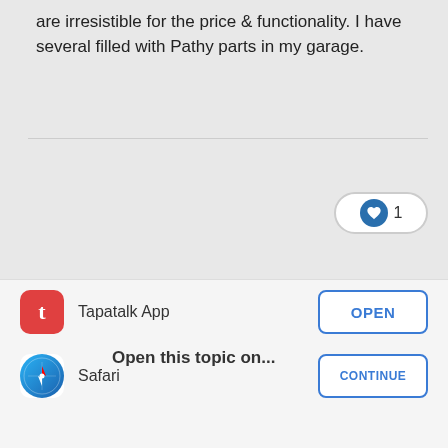are irresistible for the price & functionality. I have several filled with Pathy parts in my garage.
[Figure (screenshot): Forum page background with heart/like button showing count of 1, divider line, and '2 weeks later' timestamp section with progress bars]
[Figure (screenshot): Welcome to NPORA Forums dialog overlay with red/pink background. Text: 'Please register to gain full access to the forum. Make sure you read the Forum Guidelines and don't forget to post a new intro in the New People Start Here! section, to say hi too everyone. -NPORA']
Open this topic on...
Tapatalk App
Safari
OPEN
CONTINUE